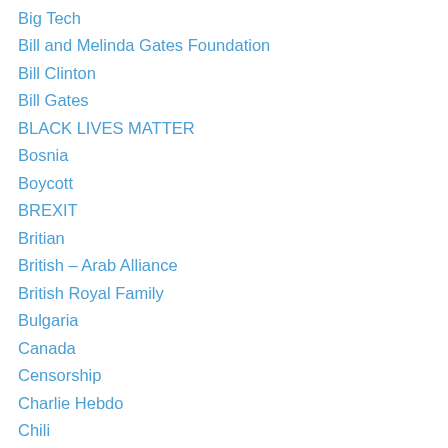Big Tech
Bill and Melinda Gates Foundation
Bill Clinton
Bill Gates
BLACK LIVES MATTER
Bosnia
Boycott
BREXIT
Britian
British – Arab Alliance
British Royal Family
Bulgaria
Canada
Censorship
Charlie Hebdo
Chili
China
CIA
Clinton Crimes
Clinton Foundation